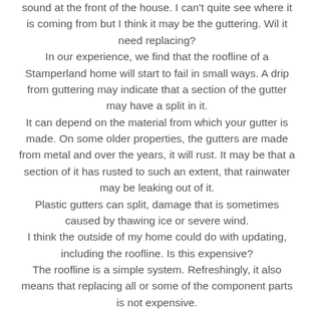sound at the front of the house. I can't quite see where it is coming from but I think it may be the guttering. Wil it need replacing?
In our experience, we find that the roofline of a Stamperland home will start to fail in small ways. A drip from guttering may indicate that a section of the gutter may have a split in it.
It can depend on the material from which your gutter is made. On some older properties, the gutters are made from metal and over the years, it will rust. It may be that a section of it has rusted to such an extent, that rainwater may be leaking out of it.
Plastic gutters can split, damage that is sometimes caused by thawing ice or severe wind.
I think the outside of my home could do with updating, including the roofline. Is this expensive?
The roofline is a simple system. Refreshingly, it also means that replacing all or some of the component parts is not expensive.
Updating the roofline can make a real difference to how the outside of your home looks. For example, there is now a range of colours, styles and finishes that you can choose from. Many people choose black, and white and brown are also popular colours.
Some homeowners want their roofline to contrast with